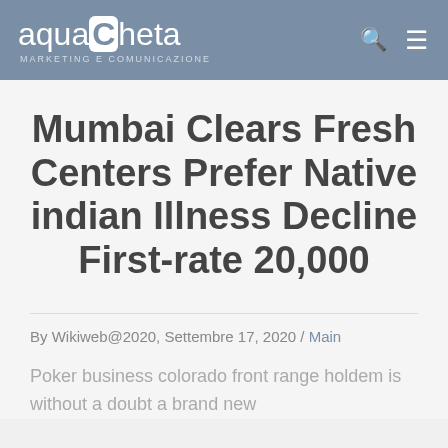aquaCheta MARKETING E COMUNICAZIONE
Mumbai Clears Fresh Centers Prefer Native indian Illness Decline First-rate 20,000
By Wikiweb@2020, Settembre 17, 2020 / Main
Poker business colorado front range holdem is without a doubt a brand new